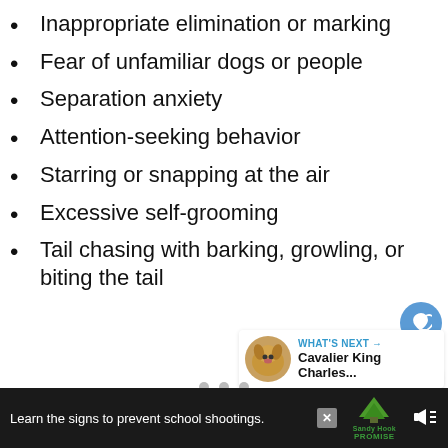Inappropriate elimination or marking
Fear of unfamiliar dogs or people
Separation anxiety
Attention-seeking behavior
Starring or snapping at the air
Excessive self-grooming
Tail chasing with barking, growling, or biting the tail
[Figure (other): Blue circle button with heart icon (favorite/like button)]
[Figure (other): White circle button with share icon]
[Figure (other): What's Next promo box with dog photo and text 'Cavalier King Charles...']
Learn the signs to prevent school shootings. Sandy Hook Promise [advertisement with logo and mute icon]